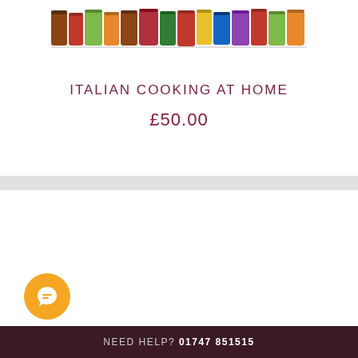[Figure (photo): Row of Italian food product jars and tins displayed against a white background]
ITALIAN COOKING AT HOME
£50.00
We use cookies on our website to give you the most relevant experience by remembering your preferences and repeat visits. By clicking “Accept”, you consent to the use of ALL the cookies.
Cookie settings
ACCEPT
NEED HELP? 01747 851515